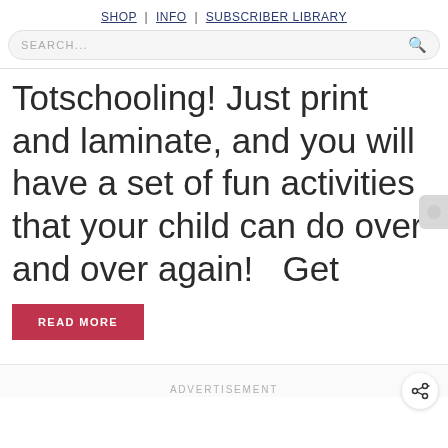SHOP | INFO | SUBSCRIBER LIBRARY
SEARCH...
Totschooling! Just print and laminate, and you will have a set of fun activities that your child can do over and over again!   Get
READ MORE
ADVERTISEMENT